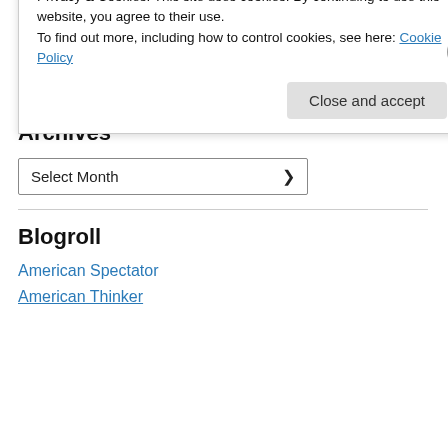Categories
[Figure (screenshot): Dropdown widget labeled 'Select Category' with chevron]
Archives
[Figure (screenshot): Dropdown widget labeled 'Select Month' with chevron]
Blogroll
American Spectator
American Thinker
Privacy & Cookies: This site uses cookies. By continuing to use this website, you agree to their use.
To find out more, including how to control cookies, see here: Cookie Policy
Close and accept